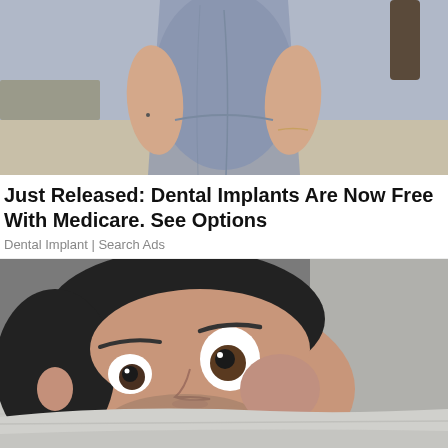[Figure (photo): Woman in light blue/grey fitted dress photographed from neck to waist outdoors on a sandy/paved area]
Just Released: Dental Implants Are Now Free With Medicare. See Options
Dental Implant | Search Ads
[Figure (photo): Man with wide surprised eyes peeking over a pillow or blanket, lying down, looking startled]